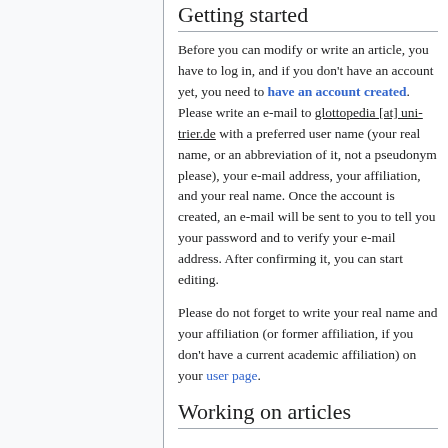Getting started
Before you can modify or write an article, you have to log in, and if you don't have an account yet, you need to have an account created. Please write an e-mail to glottopedia [at] uni-trier.de with a preferred user name (your real name, or an abbreviation of it, not a pseudonym please), your e-mail address, your affiliation, and your real name. Once the account is created, an e-mail will be sent to you to tell you your password and to verify your e-mail address. After confirming it, you can start editing.
Please do not forget to write your real name and your affiliation (or former affiliation, if you don't have a current academic affiliation) on your user page.
Working on articles